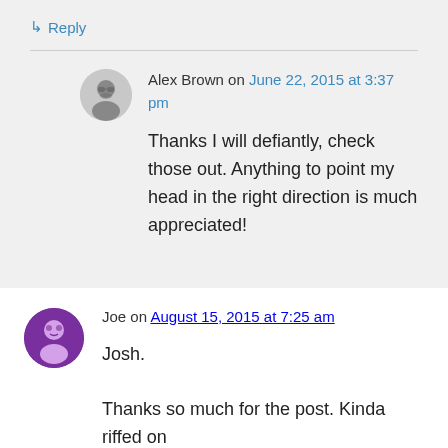↳ Reply
Alex Brown on June 22, 2015 at 3:37 pm
Thanks I will defiantly, check those out. Anything to point my head in the right direction is much appreciated!
Joe on August 15, 2015 at 7:25 am
Josh.

Thanks so much for the post. Kinda riffed on